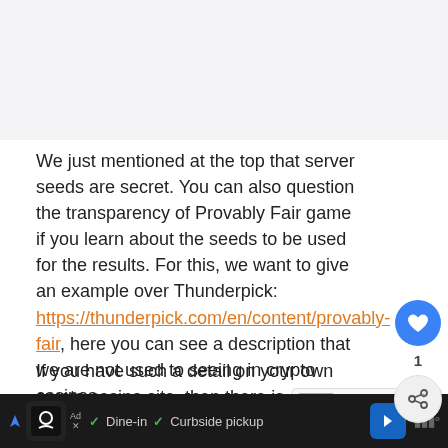We just mentioned at the top that server seeds are secret. You can also question the transparency of Provably Fair game if you learn about the seeds to be used for the results. For this, we want to give an example over Thunderpick: https://thunderpick.com/en/content/provably-fair, here you can see a description that we are not used to seeing in crypto casinos.
If you have such a detail on your own crypto casino site, then there is only one thing you can do. First run the user's seeds with hashed seeds. Of course, you also need a third-party SHA-256 calculator site to test this. If you
[Figure (other): Advertisement bar at bottom: restaurant/food delivery ad with chef icon, dine-in and curbside pickup options, blue arrow icon]